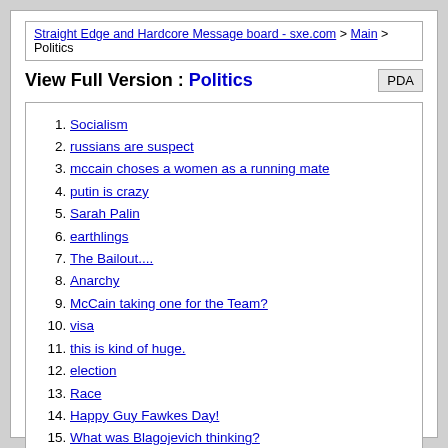Straight Edge and Hardcore Message board - sxe.com > Main > Politics
View Full Version : Politics
1. Socialism
2. russians are suspect
3. mccain choses a women as a running mate
4. putin is crazy
5. Sarah Palin
6. earthlings
7. The Bailout....
8. Anarchy
9. McCain taking one for the Team?
10. visa
11. this is kind of huge.
12. election
13. Race
14. Happy Guy Fawkes Day!
15. What was Blagojevich thinking?
16. Omg yay!
17. government conspiracy
18. Greek Riots
19. hi canada, you're a joke
20. bye-bye!
21. Fascism, Nationalism, Racism, Nazism.
22. i wish my country was this cool